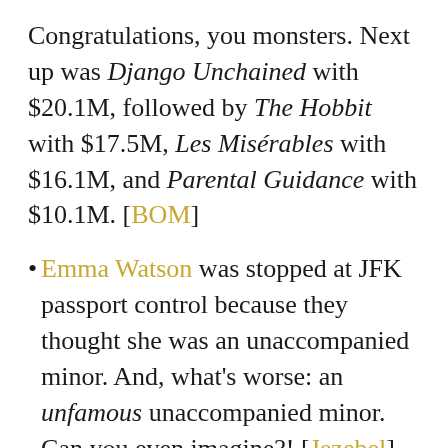Congratulations, you monsters. Next up was Django Unchained with $20.1M, followed by The Hobbit with $17.5M, Les Misérables with $16.1M, and Parental Guidance with $10.1M. [BOM]
Emma Watson was stopped at JFK passport control because they thought she was an unaccompanied minor. And, what's worse: an unfamous unaccompanied minor. Can you even imagine?! [Jezebel]
The Feud that Wouldn't Die, between Azealia Banks and Angel Haze, picked